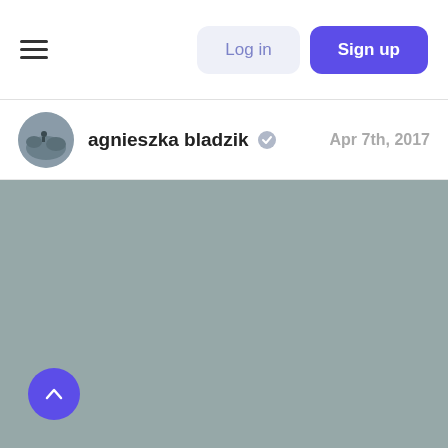Log in | Sign up
agnieszka bladzik  ✔  Apr 7th, 2017
[Figure (photo): Muted blue-grey solid color background representing the main content image area]
[Figure (other): Purple circular scroll-to-top button with white chevron/arrow pointing up, positioned at bottom-left]